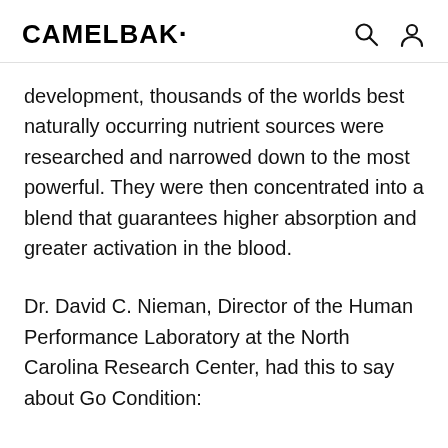CAMELBAK
development, thousands of the worlds best naturally occurring nutrient sources were researched and narrowed down to the most powerful. They were then concentrated into a blend that guarantees higher absorption and greater activation in the blood.
Dr. David C. Nieman, Director of the Human Performance Laboratory at the North Carolina Research Center, had this to say about Go Condition: